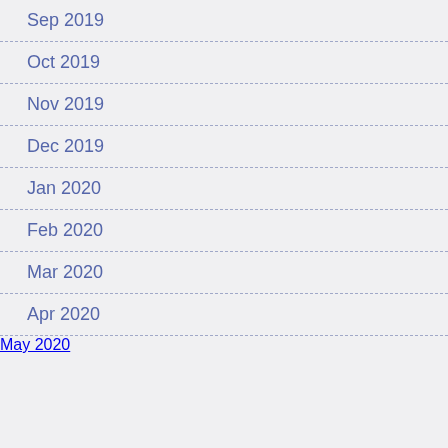Sep 2019
Oct 2019
Nov 2019
Dec 2019
Jan 2020
Feb 2020
Mar 2020
Apr 2020
May 2020